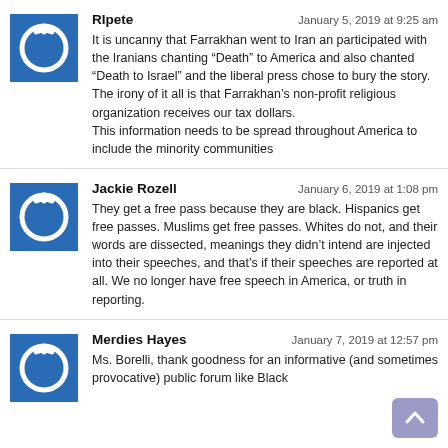RIpete — January 5, 2019 at 9:25 am
It is uncanny that Farrakhan went to Iran an participated with the Iranians chanting “Death” to America and also chanted “Death to Israel” and the liberal press chose to bury the story.
The irony of it all is that Farrakhan’s non-profit religious organization receives our tax dollars.
This information needs to be spread throughout America to include the minority communities
Jackie Rozell — January 6, 2019 at 1:08 pm
They get a free pass because they are black. Hispanics get free passes. Muslims get free passes. Whites do not, and their words are dissected, meanings they didn’t intend are injected into their speeches, and that’s if their speeches are reported at all. We no longer have free speech in America, or truth in reporting.
Merdies Hayes — January 7, 2019 at 12:57 pm
Ms. Borelli, thank goodness for an informative (and sometimes provocative) public forum like Black